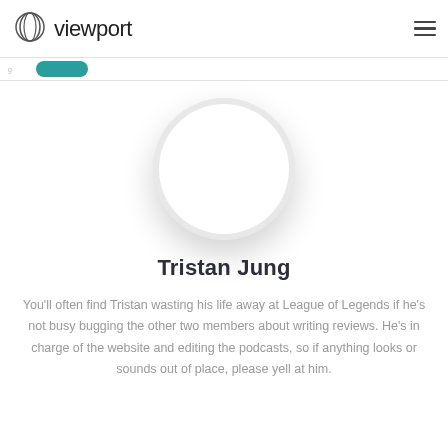viewport
[Figure (photo): Circular profile photo placeholder — white circle with light grey shadow background]
Tristan Jung
You'll often find Tristan wasting his life away at League of Legends if he's not busy bugging the other two members about writing reviews. He's in charge of the website and editing the podcasts, so if anything looks or sounds out of place, please yell at him.